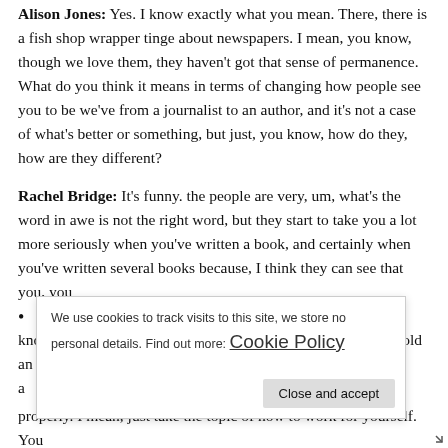Alison Jones: Yes. I know exactly what you mean. There, there is a fish shop wrapper tinge about newspapers. I mean, you know, though we love them, they haven't got that sense of permanence. What do you think it means in terms of changing how people see you to be we've from a journalist to an author, and it's not a case of what's better or something, but just, you know, how do they, how are they different?
Rachel Bridge: It's funny. the people are very, um, what's the word in awe is not the right word, but they start to take you a lot more seriously when you've written a book, and certainly when you've written several books because, I think they can see that you, you know. you can string a sentence together. but also you could hold an a ... a ... th ... properly. I mean, just take the topic of how to work for yourself. You
We use cookies to track visits to this site, we store no personal details. Find out more: Cookie Policy
Close and accept